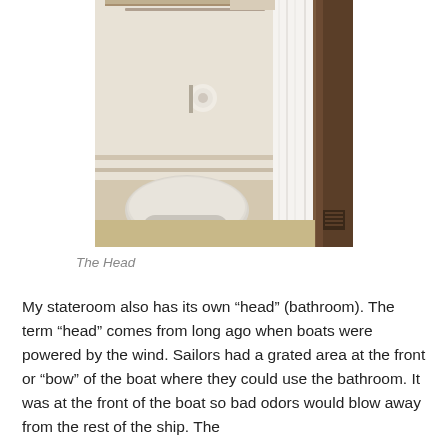[Figure (photo): A ship stateroom bathroom (head) showing a toilet with closed lid, a toilet paper holder with roll, a white shower curtain, and a dark wood door frame. The room has white walls and a light-colored floor.]
The Head
My stateroom also has its own “head” (bathroom). The term “head” comes from long ago when boats were powered by the wind. Sailors had a grated area at the front or “bow” of the boat where they could use the bathroom. It was at the front of the boat so bad odors would blow away from the rest of the ship. The